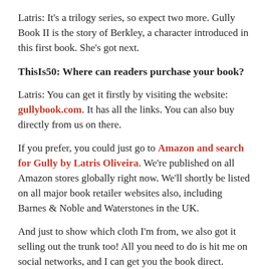Latris: It's a trilogy series, so expect two more. Gully Book II is the story of Berkley, a character introduced in this first book. She's got next.
ThisIs50: Where can readers purchase your book?
Latris: You can get it firstly by visiting the website: gullybook.com. It has all the links. You can also buy directly from us on there.
If you prefer, you could just go to Amazon and search for Gully by Latris Oliveira. We're published on all Amazon stores globally right now. We'll shortly be listed on all major book retailer websites also, including Barnes & Noble and Waterstones in the UK.
And just to show which cloth I'm from, we also got it selling out the trunk too! All you need to do is hit me on social networks, and I can get you the book direct.
IG: GullyTheNovel Twitter: GullyNovel